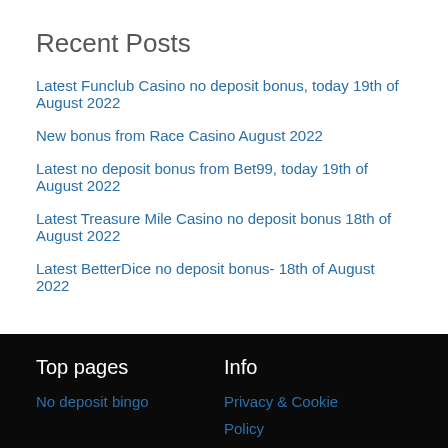Recent Posts
Latest Funclub Casino no deposit bonus, today 19th of August 2022
New bonus from Race Casino August 2022
Latest no deposit bonus from Bet99, today 19th of August 2022
Latest Treasure Mile Casino no deposit bonus 18th of August 2022
Latest BetterDice no deposit bonus- 18th of August 2022
Top pages
No deposit bingo
Info
Privacy & Cookie Policy
Sitemap
18+